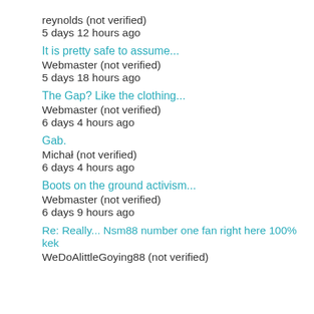reynolds (not verified)
5 days 12 hours ago
It is pretty safe to assume...
Webmaster (not verified)
5 days 18 hours ago
The Gap? Like the clothing...
Webmaster (not verified)
6 days 4 hours ago
Gab.
Michał (not verified)
6 days 4 hours ago
Boots on the ground activism...
Webmaster (not verified)
6 days 9 hours ago
Re: Really... Nsm88 number one fan right here 100% kek
WeDoAlittleGoying88 (not verified)